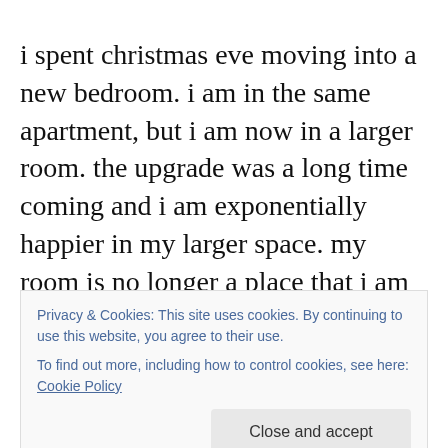i spent christmas eve moving into a new bedroom. i am in the same apartment, but i am now in a larger room. the upgrade was a long time coming and i am exponentially happier in my larger space. my room is no longer a place that i am embarrassed to say that i live in. i no longer reside in a 10'x10' shoebox nor do i sleep on a crumpled unevenly spring filled single mattress on the floor. my
Privacy & Cookies: This site uses cookies. By continuing to use this website, you agree to their use.
To find out more, including how to control cookies, see here: Cookie Policy
Close and accept
francisco. this is the first year that i've spent the holiday